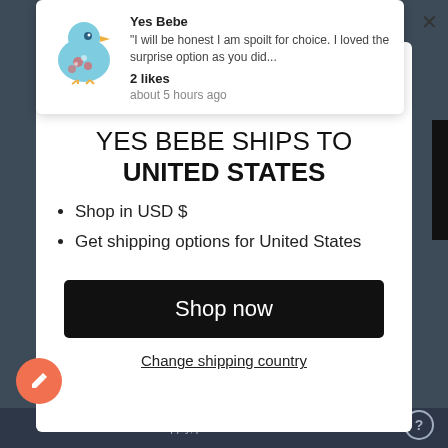[Figure (screenshot): Notification popup with Yes Bebe bird logo, text quote, 2 likes, about 5 hours ago]
YES BEBE SHIPS TO UNITED STATES
Shop in USD $
Get shipping options for United States
Shop now
Change shipping country
*Some exclusions apply, please see T&Cs for more info